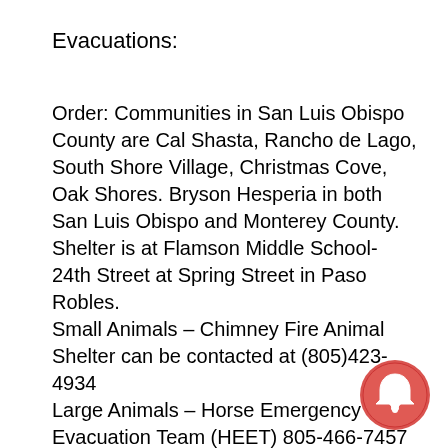Evacuations:
Order: Communities in San Luis Obispo County are Cal Shasta, Rancho de Lago, South Shore Village, Christmas Cove, Oak Shores. Bryson Hesperia in both San Luis Obispo and Monterey County.
Shelter is at Flamson Middle School- 24th Street at Spring Street in Paso Robles.
Small Animals – Chimney Fire Animal Shelter can be contacted at (805)423-4934
Large Animals – Horse Emergency Evacuation Team (HEET) 805-466-7457
Large and Small Animials – Chimney Fire Animal Relief (805)423-4934